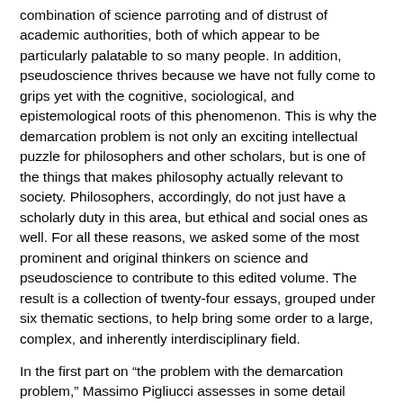combination of science parroting and of distrust of academic authorities, both of which appear to be particularly palatable to so many people. In addition, pseudoscience thrives because we have not fully come to grips yet with the cognitive, sociological, and epistemological roots of this phenomenon. This is why the demarcation problem is not only an exciting intellectual puzzle for philosophers and other scholars, but is one of the things that makes philosophy actually relevant to society. Philosophers, accordingly, do not just have a scholarly duty in this area, but ethical and social ones as well. For all these reasons, we asked some of the most prominent and original thinkers on science and pseudoscience to contribute to this edited volume. The result is a collection of twenty-four essays, grouped under six thematic sections, to help bring some order to a large, complex, and inherently interdisciplinary field.
In the first part on “the problem with the demarcation problem,” Massimo Pigliucci assesses in some detail Laudan’s objections to the research program and goes on to propose an approach based on a quantifiable ver- sion of Wittgensteinian family resemblance. In a similar vein, Martin